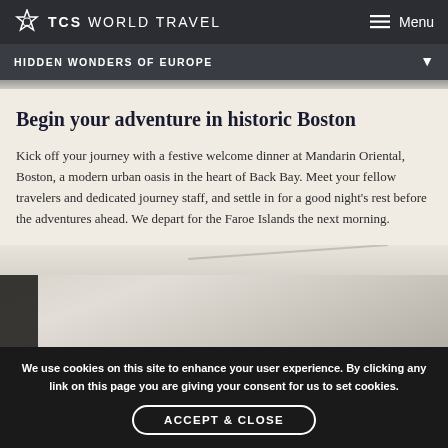TCS WORLD TRAVEL  Menu
HIDDEN WONDERS OF EUROPE
Begin your adventure in historic Boston
Kick off your journey with a festive welcome dinner at Mandarin Oriental, Boston, a modern urban oasis in the heart of Back Bay. Meet your fellow travelers and dedicated journey staff, and settle in for a good night's rest before the adventures ahead. We depart for the Faroe Islands the next morning.
[Figure (photo): Hotel room interior photo showing ceiling and wall]
We use cookies on this site to enhance your user experience. By clicking any link on this page you are giving your consent for us to set cookies.
ACCEPT & CLOSE